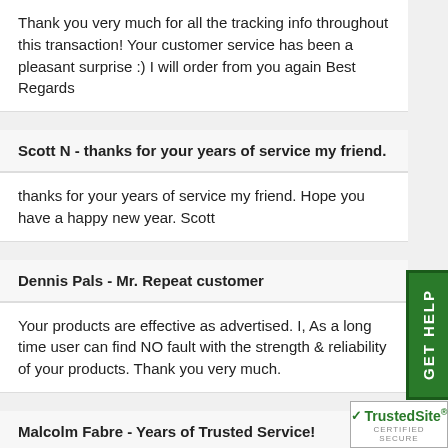Thank you very much for all the tracking info throughout this transaction! Your customer service has been a pleasant surprise :) I will order from you again Best Regards
Scott N - thanks for your years of service my friend.
thanks for your years of service my friend. Hope you have a happy new year. Scott
Dennis Pals - Mr. Repeat customer
Your products are effective as advertised. I, As a long time user can find NO fault with the strength & reliability of your products. Thank you very much.
Malcolm Fabre - Years of Trusted Service!
[Figure (logo): TrustedSite Certified Secure badge with green checkmark]